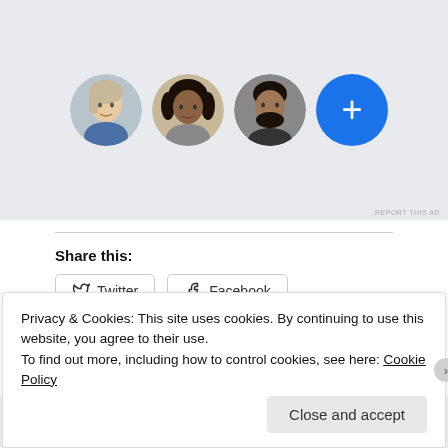[Figure (illustration): Ad area with four circular avatars: three profile photos and one blue circle with a plus sign]
REPORT THIS AD
Share this:
Twitter  Facebook
Like
2 bloggers like this.
Privacy & Cookies: This site uses cookies. By continuing to use this website, you agree to their use.
To find out more, including how to control cookies, see here: Cookie Policy
Close and accept